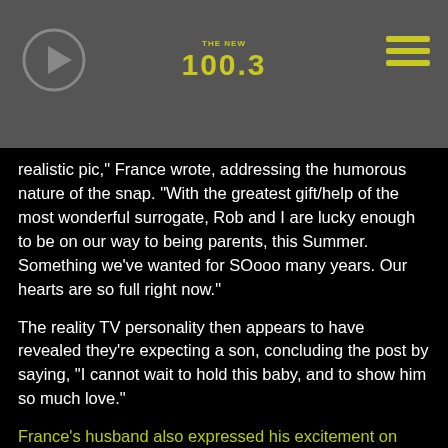THE NEW 100.3
realistic pic," France wrote, addressing the humorous nature of the snap. "With the greatest gift/help of the most wonderful surrogate, Rob and I are lucky enough to be on our way to being parents, this Summer. Something we've wanted for SOooo many years. Our hearts are so full right now."
The reality TV personality then appears to have revealed they're expecting a son, concluding the post by saying, "I cannot wait to hold this baby, and to show him so much love."
France's husband also expressed his excitement on Instagram alongside an illustration of an infant. "We have a beautiful little angel on the way," he wrote, "and I didn't think it was humanly possible to feel like